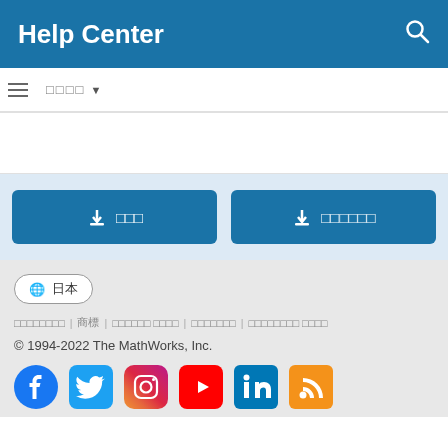Help Center
□□□□ ▼
[Figure (screenshot): Two download buttons with Japanese text on light blue background]
🌐 日本  □□□□□□□□ | 商標 | プライバシー ポリシー | 不正使用の報告 | ステータスセンターのヘルプ  © 1994-2022 The MathWorks, Inc.